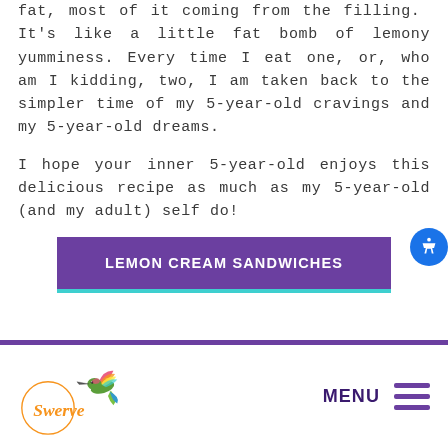fat, most of it coming from the filling. It's like a little fat bomb of lemony yumminess. Every time I eat one, or, who am I kidding, two, I am taken back to the simpler time of my 5-year-old cravings and my 5-year-old dreams.
I hope your inner 5-year-old enjoys this delicious recipe as much as my 5-year-old (and my adult) self do!
LEMON CREAM SANDWICHES
[Figure (logo): Swerve logo with colorful hummingbird and orange cursive Swerve text]
MENU